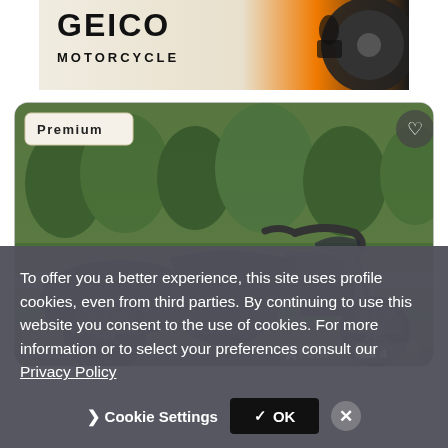[Figure (advertisement): GEICO Motorcycle insurance advertisement banner with orange and black styling, showing motorcycle tire on right side and MOTORCYCLE text]
[Figure (photo): Black Harley-Davidson motorcycle (Street Glide style) parked on grass in front of trees. Premium listing badge top-left, heart/favorite button top-right, Firm label and camera icon with count 4 at bottom-right.]
To offer you a better experience, this site uses profile cookies, even from third parties. By continuing to use this website you consent to the use of cookies. For more information or to select your preferences consult our Privacy Policy
Cookie Settings
✓ OK